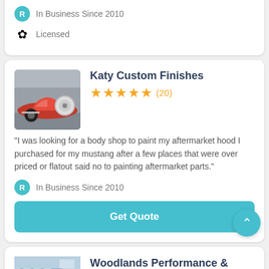In Business Since 2010
Licensed
Katy Custom Finishes
(20) — 5 stars
“I was looking for a body shop to paint my aftermarket hood I purchased for my mustang after a few places that were over priced or flatout said no to painting aftermarket parts.”
In Business Since 2010
Get Quote
Woodlands Performance &